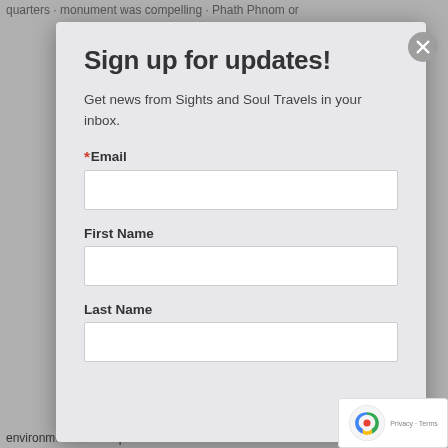quarters · monument was compelling · Phath Phnom or
Sign up for updates!
Get news from Sights and Soul Travels in your inbox.
*Email
First Name
Last Name
environment and the pride and environmental consciousness of our